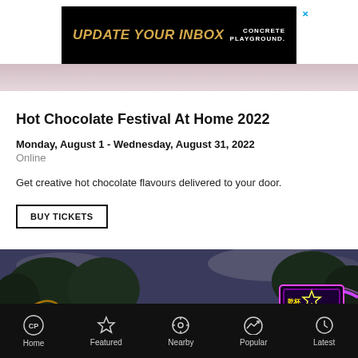[Figure (screenshot): Advertisement banner: black background with gold italic text 'UPDATE YOUR INBOX' and white text 'CONCRETE PLAYGROUND.' on the right]
Hot Chocolate Festival At Home 2022
Monday, August 1 - Wednesday, August 31, 2022
Online
Get creative hot chocolate flavours delivered to your door.
BUY TICKETS
[Figure (photo): Night festival scene with neon signs, trees, and colorful lights]
Home  Featured  Nearby  Popular  Latest